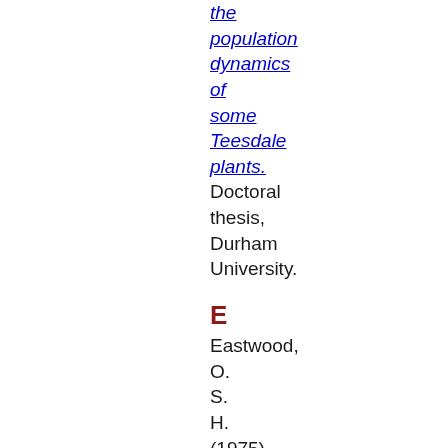the population dynamics of some Teesdale plants. Doctoral thesis, Durham University.
E
Eastwood, O. S. H. (1975) An edition (with a commentary